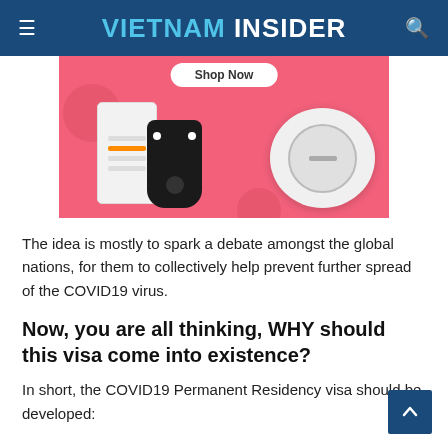VIETNAM INSIDER
[Figure (photo): Advertisement banner with pink background showing electronic gadgets including a robot vacuum, gaming device, and game controller, with a 'Shop Now' button at the top.]
The idea is mostly to spark a debate amongst the global nations, for them to collectively help prevent further spread of the COVID19 virus.
Now, you are all thinking, WHY should this visa come into existence?
In short, the COVID19 Permanent Residency visa should be developed: